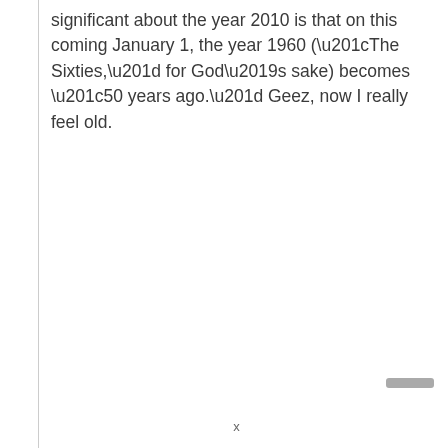significant about the year 2010 is that on this coming January 1, the year 1960 (“The Sixties,” for God’s sake) becomes “50 years ago.” Geez, now I really feel old.